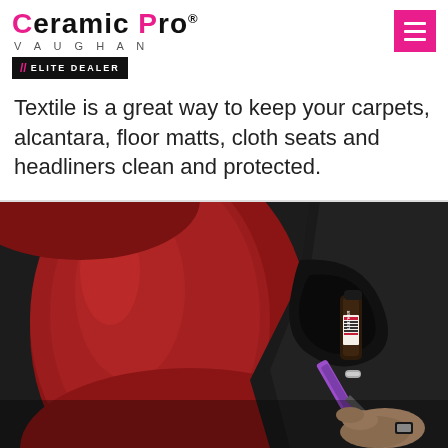Ceramic Pro® VAUGHAN // ELITE DEALER
Textile is a great way to keep your carpets, alcantara, floor matts, cloth seats and headliners clean and protected.
[Figure (photo): Close-up photo of a person applying Ceramic Pro Leather product with an airbrush tool inside a car with red leather interior seats and black trim panels.]